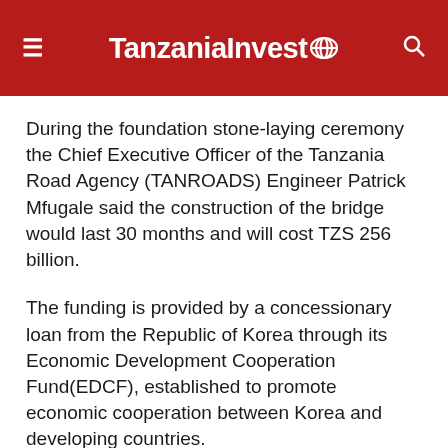TanzaniaInvest
During the foundation stone-laying ceremony the Chief Executive Officer of the Tanzania Road Agency (TANROADS) Engineer Patrick Mfugale said the construction of the bridge would last 30 months and will cost TZS 256 billion.
The funding is provided by a concessionary loan from the Republic of Korea through its Economic Development Cooperation Fund(EDCF), established to promote economic cooperation between Korea and developing countries.
President Magufuli thanked the Government of